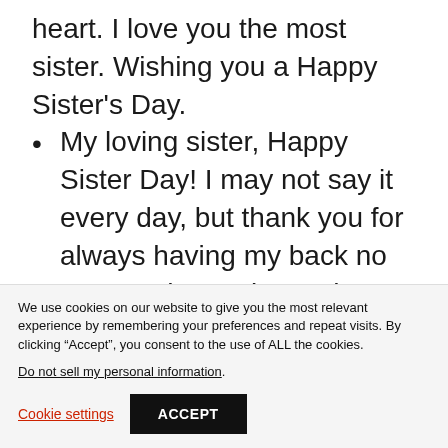heart. I love you the most sister. Wishing you a Happy Sister's Day.
My loving sister, Happy Sister Day! I may not say it every day, but thank you for always having my back no matter what. Take my hugs!
Happy Sister Day to the one who loves me the most, I believe.
We use cookies on our website to give you the most relevant experience by remembering your preferences and repeat visits. By clicking “Accept”, you consent to the use of ALL the cookies.
Do not sell my personal information.
Cookie settings  ACCEPT